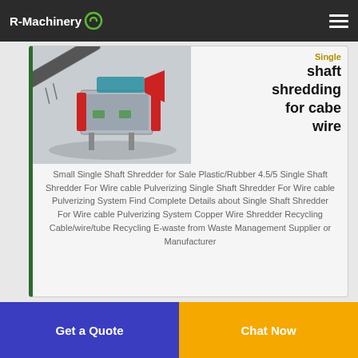R-Machinery
[Figure (photo): 3D rendering of a single shaft shredding machine system with conveyor belt and feed hopper]
Single shaft shredding for cabe wire
Small Single Shaft Shredder for Sale Plastic/Rubber 4.5/5 Single Shaft Shredder For Wire cable Pulverizing Single Shaft Shredder For Wire cable Pulverizing System Find Complete Details about Single Shaft Shredder For Wire cable Pulverizing System Copper Wire Shredder Recycling Cable/wire/tube Recycling E-waste from Waste Management Supplier or Manufacturer